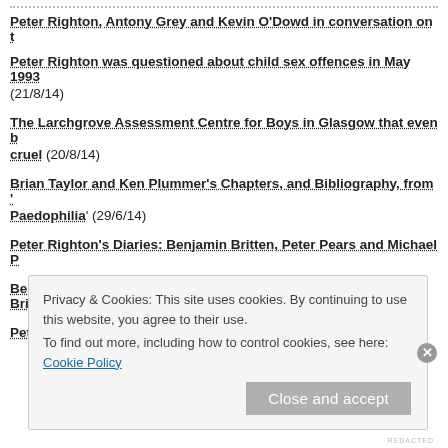Peter Righton, Antony Grey and Kevin O'Dowd in conversation on t…
Peter Righton was questioned about child sex offences in May 1993… (21/8/14)
The Larchgrove Assessment Centre for Boys in Glasgow that even b… cruel (20/8/14)
Brian Taylor and Ken Plummer's Chapters, and Bibliography, from '… Paedophilia' (29/6/14)
Peter Righton's Diaries: Benjamin Britten, Peter Pears and Michael …
Benjamin Britten and Peter Righton – A Response from the Britten-…
Peter Righton – Further Material (12/6/14)
Privacy & Cookies: This site uses cookies. By continuing to use this website, you agree to their use.
To find out more, including how to control cookies, see here: Cookie Policy
Close and accept